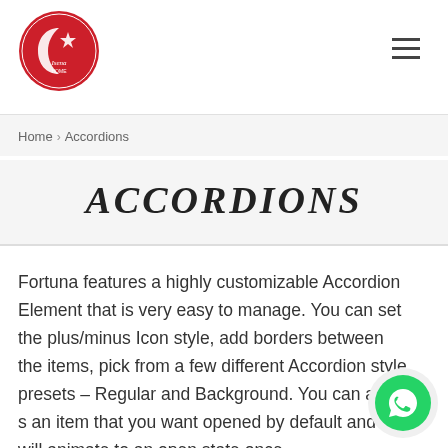[Figure (logo): Circular red logo with white crescent moon and star design, with 'Fortuna' text inside]
Home › Accordions
ACCORDIONS
Fortuna features a highly customizable Accordion Element that is very easy to manage. You can set the plus/minus Icon style, add borders between the items, pick from a few different Accordion style presets – Regular and Background. You can also s an item that you want opened by default and it will animate to an open state once